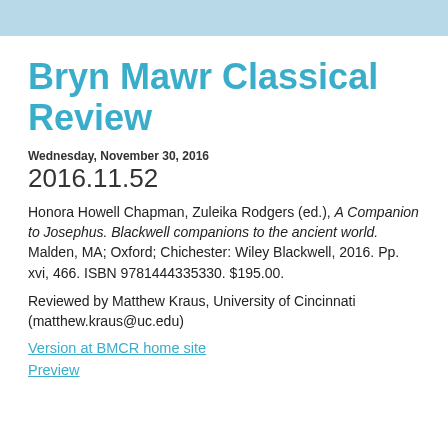Bryn Mawr Classical Review
Wednesday, November 30, 2016
2016.11.52
Honora Howell Chapman, Zuleika Rodgers (ed.), A Companion to Josephus. Blackwell companions to the ancient world. Malden, MA; Oxford; Chichester: Wiley Blackwell, 2016. Pp. xvi, 466. ISBN 9781444335330. $195.00.
Reviewed by Matthew Kraus, University of Cincinnati (matthew.kraus@uc.edu)
Version at BMCR home site
Preview